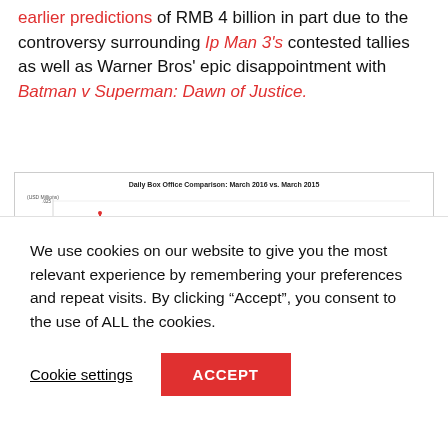earlier predictions of RMB 4 billion in part due to the controversy surrounding Ip Man 3's contested tallies as well as Warner Bros' epic disappointment with Batman v Superman: Dawn of Justice.
[Figure (line-chart): Two line series (red for 2016, dark/grey for 2015) showing daily box office values across March dates. The 2016 line (red) peaks sharply around 3/5 and again mid-month; the 2015 line is lower with smaller peaks.]
Daily box office comparison text continues...
We use cookies on our website to give you the most relevant experience by remembering your preferences and repeat visits. By clicking "Accept", you consent to the use of ALL the cookies.